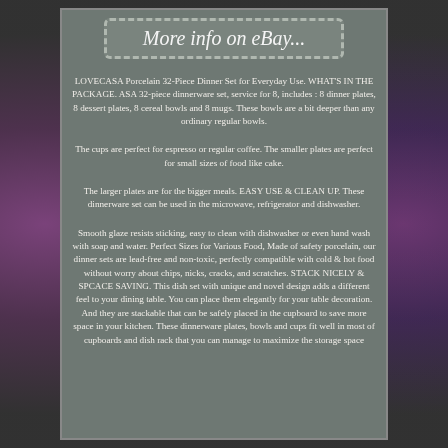[Figure (other): Gray panel with decorative dashed-border button label reading 'More info on eBay...' and multiple paragraphs of product description text for LOVECASA Porcelain 32-Piece Dinner Set, on a dark background with purple/pink decorative elements on sides.]
More info on eBay...
LOVECASA Porcelain 32-Piece Dinner Set for Everyday Use. WHAT'S IN THE PACKAGE. ASA 32-piece dinnerware set, service for 8, includes : 8 dinner plates, 8 dessert plates, 8 cereal bowls and 8 mugs. These bowls are a bit deeper than any ordinary regular bowls.
The cups are perfect for espresso or regular coffee. The smaller plates are perfect for small sizes of food like cake.
The larger plates are for the bigger meals. EASY USE & CLEAN UP. These dinnerware set can be used in the microwave, refrigerator and dishwasher.
Smooth glaze resists sticking, easy to clean with dishwasher or even hand wash with soap and water. Perfect Sizes for Various Food, Made of safety porcelain, our dinner sets are lead-free and non-toxic, perfectly compatible with cold & hot food without worry about chips, nicks, cracks, and scratches. STACK NICELY & SPCACE SAVING. This dish set with unique and novel design adds a different feel to your dining table. You can place them elegantly for your table decoration. And they are stackable that can be safely placed in the cupboard to save more space in your kitchen. These dinnerware plates, bowls and cups fit well in most of cupboards and dish rack that you can manage to maximize the storage space